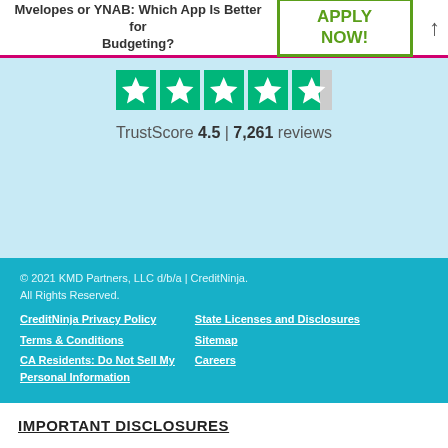Mvelopes or YNAB: Which App Is Better for Budgeting?
[Figure (infographic): Trustpilot stars widget showing TrustScore 4.5 with 7,261 reviews on light blue background]
TrustScore 4.5 | 7,261 reviews
© 2021 KMD Partners, LLC d/b/a | CreditNinja.
All Rights Reserved.
CreditNinja Privacy Policy
Terms & Conditions
CA Residents: Do Not Sell My Personal Information
State Licenses and Disclosures
Sitemap
Careers
IMPORTANT DISCLOSURES